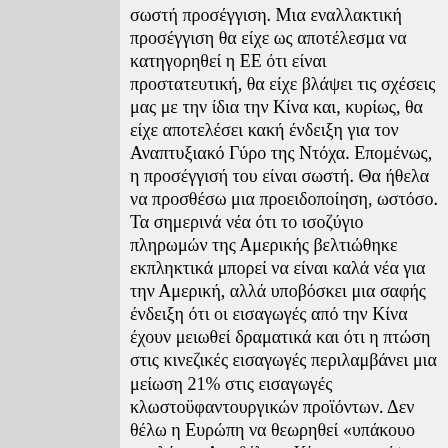σωστή προσέγγιση. Μια εναλλακτική προσέγγιση θα είχε ως αποτέλεσμα να κατηγορηθεί η ΕΕ ότι είναι προστατευτική, θα είχε βλάψει τις σχέσεις μας με την ίδια την Κίνα και, κυρίως, θα είχε αποτελέσει κακή ένδειξη για τον Αναπτυξιακό Γύρο της Ντόχα. Επομένως, η προσέγγισή του είναι σωστή. Θα ήθελα να προσθέσω μια προειδοποίηση, ωστόσο. Τα σημερινά νέα ότι το ισοζύγιο πληρωμών της Αμερικής βελτιώθηκε εκπληκτικά μπορεί να είναι καλά νέα για την Αμερική, αλλά υποβόσκει μια σαφής ένδειξη ότι οι εισαγωγές από την Κίνα έχουν μειωθεί δραματικά και ότι η πτώση στις κινεζικές εισαγωγές περιλαμβάνει μια μείωση 21% στις εισαγωγές κλωστοϋφαντουργικών προϊόντων. Δεν θέλω η Ευρώπη να θεωρηθεί «υπάκουο σκυλάκι». Δεν θέλω η Κίνα να πιστέψει ότι